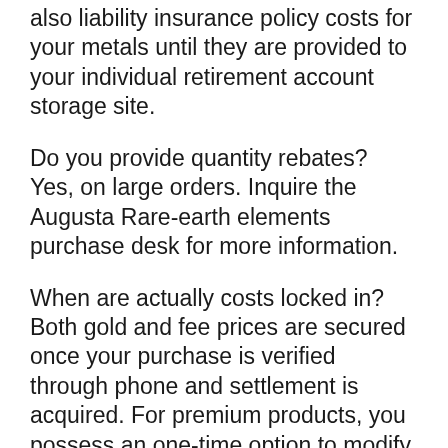also liability insurance policy costs for your metals until they are provided to your individual retirement account storage site.
Do you provide quantity rebates? Yes, on large orders. Inquire the Augusta Rare-earth elements purchase desk for more information.
When are actually costs locked in? Both gold and fee prices are secured once your purchase is verified through phone and settlement is acquired. For premium products, you possess an one-time option to modify your purchase to a lower price within seven times, as assured by our 7-Day Cost Protection System.
It also offers content about how to start and...